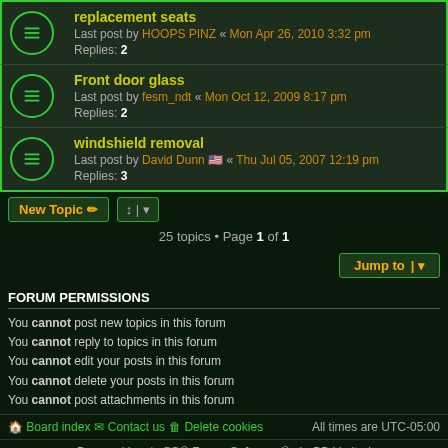replacement seats - Last post by HOOPS PINZ « Mon Apr 26, 2010 3:32 pm - Replies: 2
Front door glass - Last post by fesm_ndt « Mon Oct 12, 2009 8:17 pm - Replies: 2
windshield removal - Last post by David Dunn 🇺🇸 « Thu Jul 05, 2007 12:19 pm - Replies: 3
25 topics • Page 1 of 1
FORUM PERMISSIONS
You cannot post new topics in this forum
You cannot reply to topics in this forum
You cannot edit your posts in this forum
You cannot delete your posts in this forum
You cannot post attachments in this forum
Board index  Contact us  Delete cookies  All times are UTC-05:00
Powered by phpBB® Forum Software © phpBB Limited  Privacy | Terms